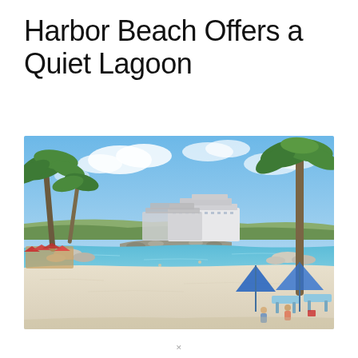Harbor Beach Offers a Quiet Lagoon
[Figure (photo): A sunny beach scene with white sand in the foreground, a calm turquoise lagoon in the middle, palm trees on both sides, colorful beach umbrellas and loungers on the right, and two large cruise ships docked in the background under a blue sky with clouds.]